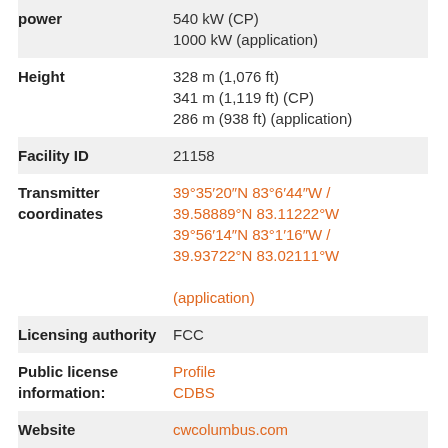| Field | Value |
| --- | --- |
| power | 540 kW (CP)
1000 kW (application) |
| Height | 328 m (1,076 ft)
341 m (1,119 ft) (CP)
286 m (938 ft) (application) |
| Facility ID | 21158 |
| Transmitter coordinates | 39°35′20″N 83°6′44″W / 39.58889°N 83.11222°W
39°56′14″N 83°1′16″W / 39.93722°N 83.02111°W
(application) |
| Licensing authority | FCC |
| Public license information: | Profile
CDBS |
| Website | cwcolumbus.com |